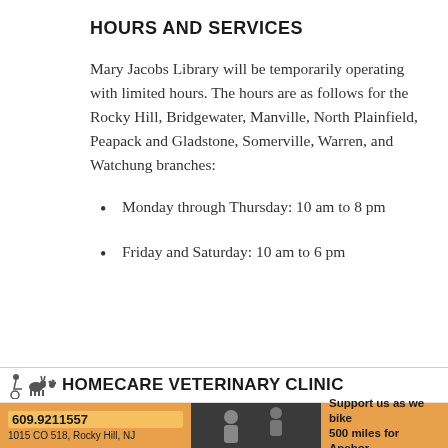HOURS AND SERVICES
Mary Jacobs Library will be temporarily operating with limited hours. The hours are as follows for the Rocky Hill, Bridgewater, Manville, North Plainfield, Peapack and Gladstone, Somerville, Warren, and Watchung branches:
Monday through Thursday: 10 am to 8 pm
Friday and Saturday: 10 am to 6 pm
[Figure (other): Advertisement for Homecare Veterinary Clinic showing logo with animal icons, phone number 609.9211557, address 1015 CO 518 Rocky Hill NJ, a photo of people, and text 'Support us as we bike 500 miles for Anchor']